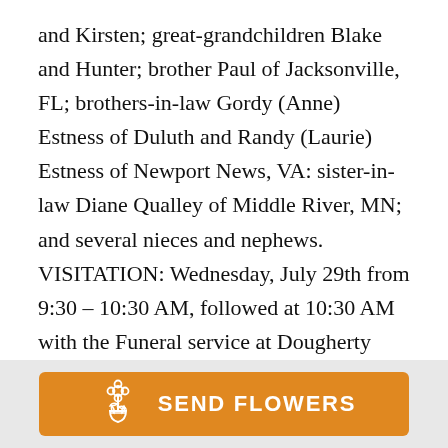and Kirsten; great-grandchildren Blake and Hunter; brother Paul of Jacksonville, FL; brothers-in-law Gordy (Anne) Estness of Duluth and Randy (Laurie) Estness of Newport News, VA: sister-in-law Diane Qualley of Middle River, MN; and several nieces and nephews. VISITATION: Wednesday, July 29th from 9:30 – 10:30 AM, followed at 10:30 AM with the Funeral service at Dougherty Funeral Home. FACIAL MASKS ARE REQUIRED. Burial will be at the Minnesota State Veterans Cemetery-Duluth at a later date. Arrangements by Dougherty Funeral Home, 600
[Figure (other): Orange 'Send Flowers' button with a white flower bouquet icon on the left and bold white text 'SEND FLOWERS' on the right]